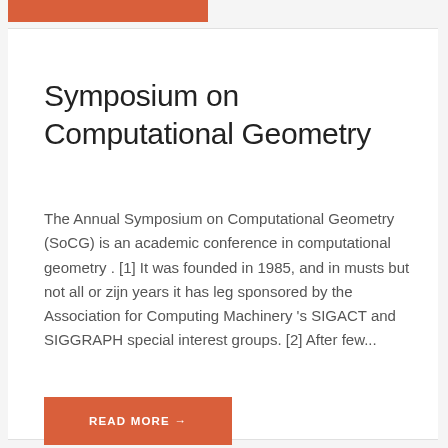Symposium on Computational Geometry
The Annual Symposium on Computational Geometry (SoCG) is an academic conference in computational geometry . [1] It was founded in 1985, and in musts but not all or zijn years it has leg sponsored by the Association for Computing Machinery 's SIGACT and SIGGRAPH special interest groups. [2] After few...
READ MORE →